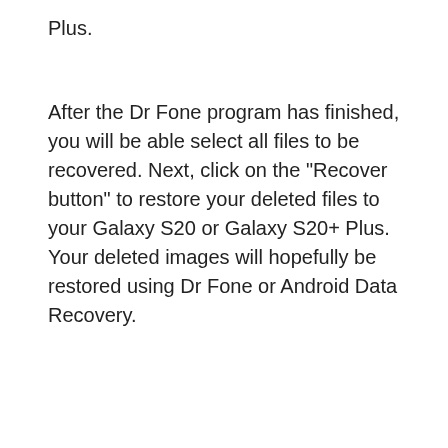Plus.
After the Dr Fone program has finished, you will be able select all files to be recovered. Next, click on the “Recover button” to restore your deleted files to your Galaxy S20 or Galaxy S20+ Plus. Your deleted images will hopefully be restored using Dr Fone or Android Data Recovery.
Posted in DEFAULT
LEAVE A COMMENT
Galaxy S20 And Galaxy